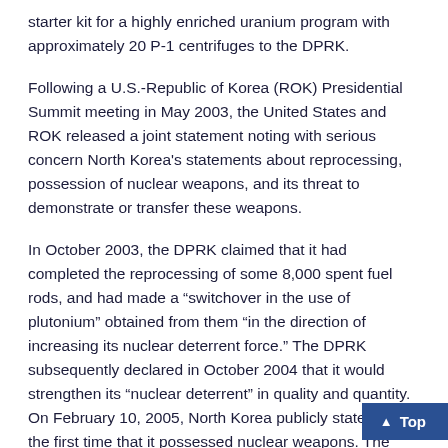starter kit for a highly enriched uranium program with approximately 20 P-1 centrifuges to the DPRK.
Following a U.S.-Republic of Korea (ROK) Presidential Summit meeting in May 2003, the United States and ROK released a joint statement noting with serious concern North Korea's statements about reprocessing, possession of nuclear weapons, and its threat to demonstrate or transfer these weapons.
In October 2003, the DPRK claimed that it had completed the reprocessing of some 8,000 spent fuel rods, and had made a “switchover in the use of plutonium” obtained from them “in the direction of increasing its nuclear deterrent force.” The DPRK subsequently declared in October 2004 that it would strengthen its “nuclear deterrent” in quality and quantity. On February 10, 2005, North Korea publicly stated for the first time that it possessed nuclear weapons. The IAEA Board of Governors condemned this announcement, and urged the DPRK to verifiably eliminate its nuclear weapons program.